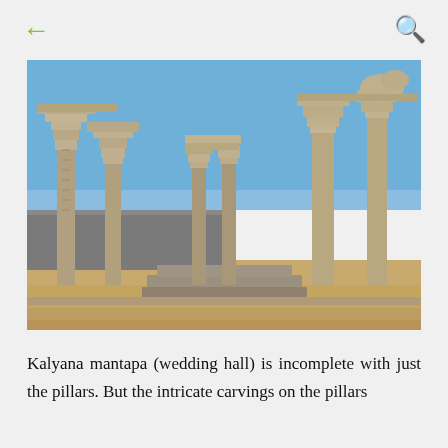← (back) 🔍 (search)
[Figure (photo): Photograph of Kalyana mantapa (wedding hall) ruins showing ornately carved stone pillars standing against a clear blue sky, with sandy ground and stone steps in the foreground.]
Kalyana mantapa (wedding hall) is incomplete with just the pillars. But the intricate carvings on the pillars